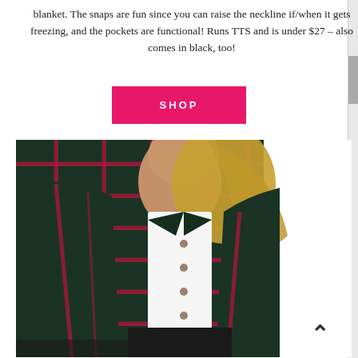blanket. The snaps are fun since you can raise the neckline if/when it gets freezing, and the pockets are functional! Runs TTS and is under $27 – also comes in black, too!
[Figure (other): Pink/hot-pink rectangular SHOP button]
[Figure (photo): A woman wearing a dark green and red plaid flannel shirt over a white top with black pants, shoulder-length blonde hair, photographed from approximately waist up against a white background.]